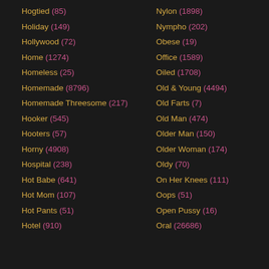Hogtied (85)
Holiday (149)
Hollywood (72)
Home (1274)
Homeless (25)
Homemade (8796)
Homemade Threesome (217)
Hooker (545)
Hooters (57)
Horny (4908)
Hospital (238)
Hot Babe (641)
Hot Mom (107)
Hot Pants (51)
Hotel (910)
Nylon (1898)
Nympho (202)
Obese (19)
Office (1589)
Oiled (1708)
Old & Young (4494)
Old Farts (7)
Old Man (474)
Older Man (150)
Older Woman (174)
Oldy (70)
On Her Knees (111)
Oops (51)
Open Pussy (16)
Oral (26686)